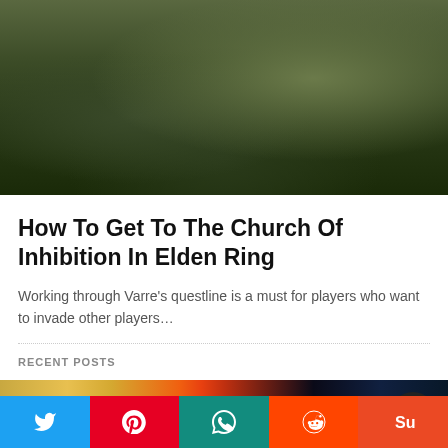[Figure (photo): Dark fantasy game screenshot showing an armored figure/boss enemy in a ruined stone environment with overgrown vegetation, from Elden Ring]
How To Get To The Church Of Inhibition In Elden Ring
Working through Varre's questline is a must for players who want to invade other players…
RECENT POSTS
[Figure (photo): Partial screenshot showing a colorful scene from a game, with golden grass on the left, fire/explosion in the center, and dark blue atmospheric background on the right. A dark circular scroll-to-top button with an upward triangle is visible.]
[Figure (infographic): Social share bar with five buttons: Twitter (blue), Pinterest (red), WhatsApp (teal), Reddit (orange-red), StumbleUpon (red-orange)]